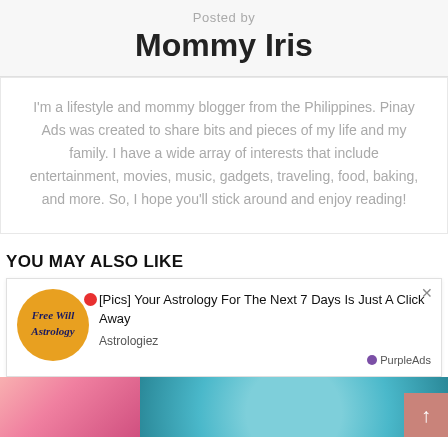Posted by
Mommy Iris
I'm a lifestyle and mommy blogger from the Philippines. Pinay Ads was created to share bits and pieces of my life and my family. I have a wide array of interests that include entertainment, movies, music, gadgets, traveling, food, baking, and more. So, I hope you'll stick around and enjoy reading!
YOU MAY ALSO LIKE
[Figure (screenshot): Advertisement popup with Free Will Astrology logo, red dot, title '[Pics] Your Astrology For The Next 7 Days Is Just A Click Away', source 'Astrologiez', and PurpleAds badge]
[Figure (photo): Partial bottom images of hands and colorful objects]